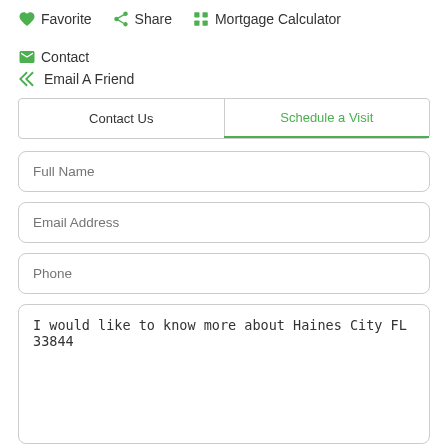♥ Favorite   ⋘ Share   ⊞ Mortgage Calculator   ✉ Contact   ↩ Email A Friend
| Contact Us | Schedule a Visit |
| --- | --- |
Full Name
Email Address
Phone
I would like to know more about Haines City FL 33844